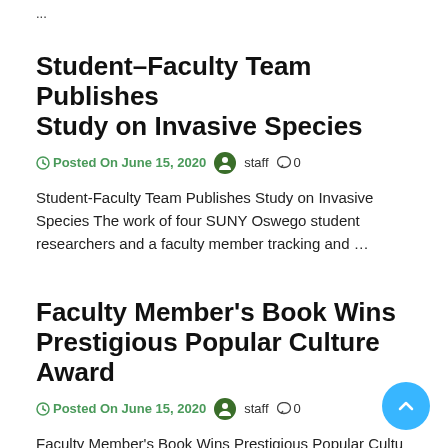...
Student–Faculty Team Publishes Study on Invasive Species
Posted On June 15, 2020   staff   0
Student-Faculty Team Publishes Study on Invasive Species The work of four SUNY Oswego student researchers and a faculty member tracking and ...
Faculty Member's Book Wins Prestigious Popular Culture Award
Posted On June 15, 2020   staff   0
Faculty Member's Book Wins Prestigious Popular Culture Award Slantwise Moves: Games, Literature and Social